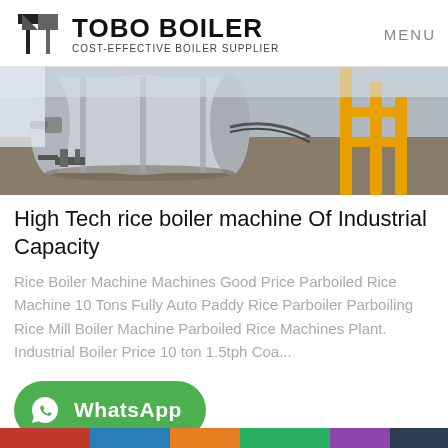TOBO BOILER COST-EFFECTIVE BOILER SUPPLIER | MENU
[Figure (photo): Industrial boiler machinery on a factory floor with yellow metal framework visible on the right]
High Tech rice boiler machine Of Industrial Capacity
Rice Boiler Machine Machines Good Price Parboiled Rice Machine 10 Tons Fully Auto Paddy Rice Parboiler Parboiling Rice Mill Boiler Machine Parboiled Rice Machines Plant. Industrial Boiler Price 10 ton 1.5tph Coa...
[Figure (other): WhatsApp button - green rounded button with WhatsApp logo and text]
[Figure (photo): Partial image at bottom of page - colorful industrial scene]